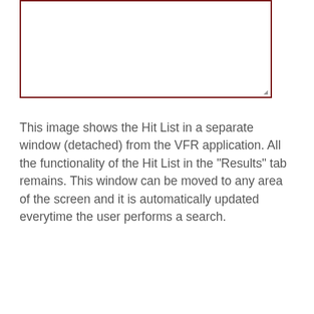[Figure (screenshot): A screenshot of the Hit List detached window from the VFR application, shown as a white rectangular box with a dark red border and a resize handle in the bottom-right corner.]
This image shows the Hit List in a separate window (detached) from the VFR application. All the functionality of the Hit List in the "Results" tab remains. This window can be moved to any area of the screen and it is automatically updated everytime the user performs a search.